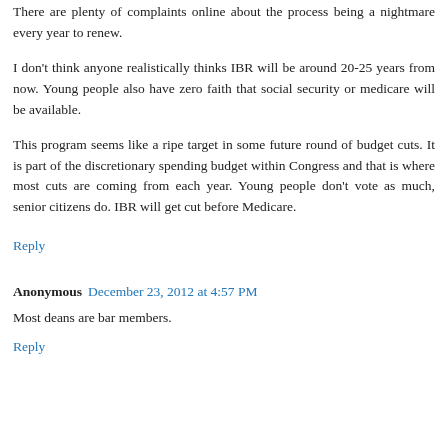There are plenty of complaints online about the process being a nightmare every year to renew.
I don't think anyone realistically thinks IBR will be around 20-25 years from now. Young people also have zero faith that social security or medicare will be available.
This program seems like a ripe target in some future round of budget cuts. It is part of the discretionary spending budget within Congress and that is where most cuts are coming from each year. Young people don't vote as much, senior citizens do. IBR will get cut before Medicare.
Reply
Anonymous December 23, 2012 at 4:57 PM
Most deans are bar members.
Reply